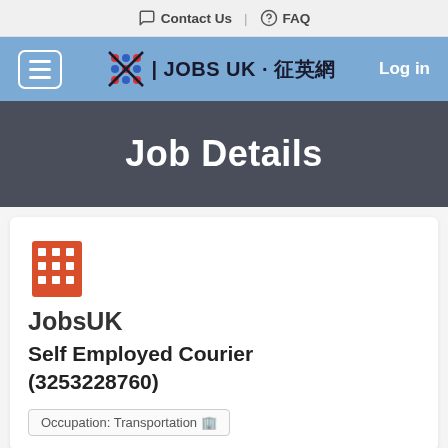Contact Us | FAQ
[Figure (logo): Jobs UK logo with Chinese characters and hamburger menu and Log in button in blue navigation bar]
Job Details
[Figure (illustration): Red building/office icon]
JobsUK
Self Employed Courier (3253228760)
Occupation: Transportation